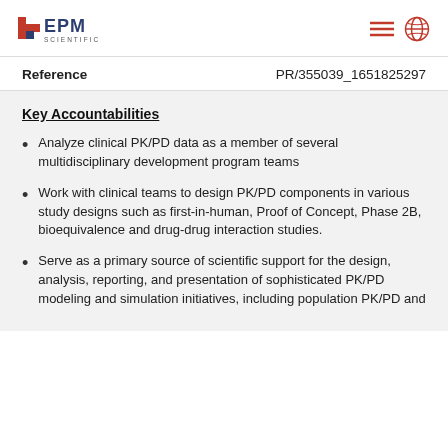EPM Scientific
Reference    PR/355039_1651825297
Key Accountabilities
Analyze clinical PK/PD data as a member of several multidisciplinary development program teams
Work with clinical teams to design PK/PD components in various study designs such as first-in-human, Proof of Concept, Phase 2B, bioequivalence and drug-drug interaction studies.
Serve as a primary source of scientific support for the design, analysis, reporting, and presentation of sophisticated PK/PD modeling and simulation initiatives, including population PK/PD and...